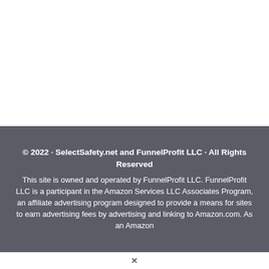© 2022 · SelectSafety.net and FunnelProfit LLC · All Rights Reserved
This site is owned and operated by FunnelProfit LLC. FunnelProfit LLC is a participant in the Amazon Services LLC Associates Program, an affiliate advertising program designed to provide a means for sites to earn advertising fees by advertising and linking to Amazon.com. As an Amazon